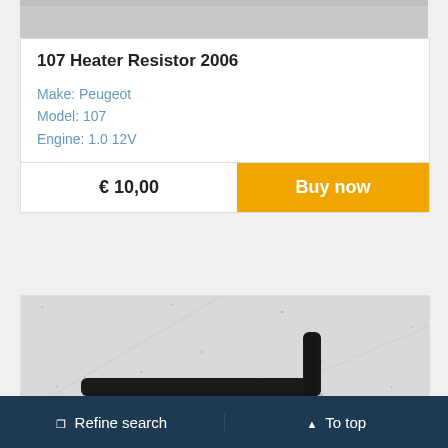[Figure (photo): Top portion of a product photo (cropped), light gray background visible at top of page]
107 Heater Resistor 2006
Make: Peugeot
Model: 107
Engine: 1.0 12V
€ 10,00
Buy now
[Figure (photo): Photo of a black L-shaped heater resistor part lying on a speckled concrete/granite surface]
❐ Refine search    ▲ To top